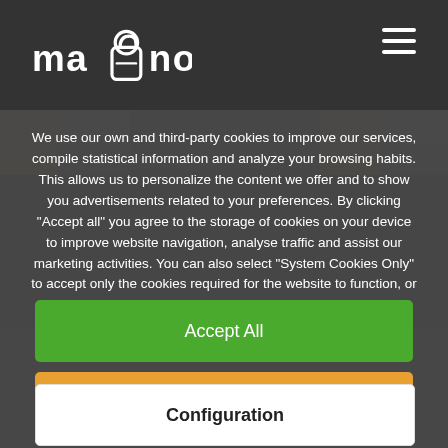[Figure (logo): Mano logo with hand icon in white on dark background]
We use our own and third-party cookies to improve our services, compile statistical information and analyze your browsing habits. This allows us to personalize the content we offer and to show you advertisements related to your preferences. By clicking "Accept all" you agree to the storage of cookies on your device to improve website navigation, analyse traffic and assist our marketing activities. You can also select "System Cookies Only" to accept only the cookies required for the website to function, or you can select the cookies you wish to activate by clicking on "settings".
Accept All
Only sistem cookies
Configuration